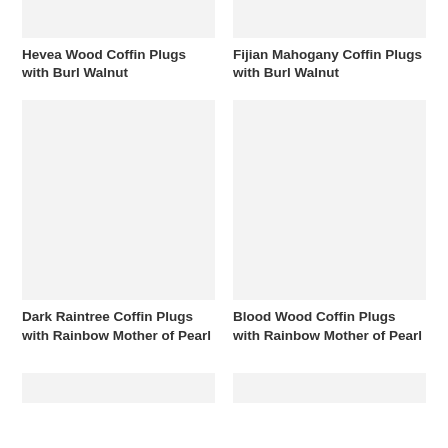[Figure (photo): Product image placeholder for Hevea Wood Coffin Plugs with Burl Walnut (top, cropped)]
[Figure (photo): Product image placeholder for Fijian Mahogany Coffin Plugs with Burl Walnut (top, cropped)]
Hevea Wood Coffin Plugs with Burl Walnut
Fijian Mahogany Coffin Plugs with Burl Walnut
[Figure (photo): Product image placeholder for Dark Raintree Coffin Plugs with Rainbow Mother of Pearl]
[Figure (photo): Product image placeholder for Blood Wood Coffin Plugs with Rainbow Mother of Pearl]
Dark Raintree Coffin Plugs with Rainbow Mother of Pearl
Blood Wood Coffin Plugs with Rainbow Mother of Pearl
[Figure (photo): Product image placeholder (bottom row, left, cropped)]
[Figure (photo): Product image placeholder (bottom row, right, cropped)]